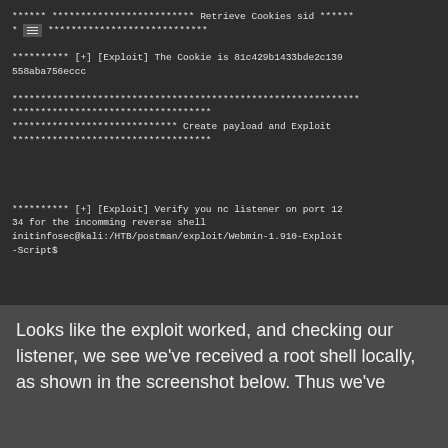[Figure (screenshot): Terminal output showing exploit script execution. First block shows asterisks with 'Retrieve Cookies sid' header and cookie value. Second block shows asterisks with 'Create payload and Exploit' header. Third block shows asterisks with '[+] [Exploit] Verify you nc listener on port 1234 for the incomming reverse shell' message followed by shell prompt.]
Looks like the exploit worked, and checking our listener, we see we've received a root shell locally, as shown in the screenshot below. Thus we've